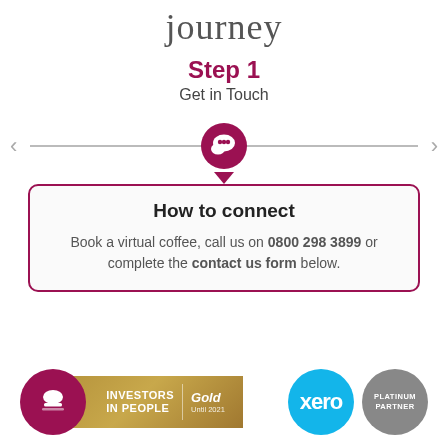journey
Step 1
Get in Touch
[Figure (infographic): Horizontal timeline with left and right navigation arrows, a central active node with a speech/chat bubble icon in a dark magenta circle, connected by a horizontal grey line.]
How to connect
Book a virtual coffee, call us on 0800 298 3899 or complete the contact us form below.
[Figure (logo): Investors in People Gold logo with magenta coffee cup circle icon, gold bar with 'INVESTORS IN PEOPLE' text, gold divider, and 'Gold Until 2021' text. Alongside: Xero logo (cyan circle with 'xero' text) and Platinum Partner logo (grey circle).]